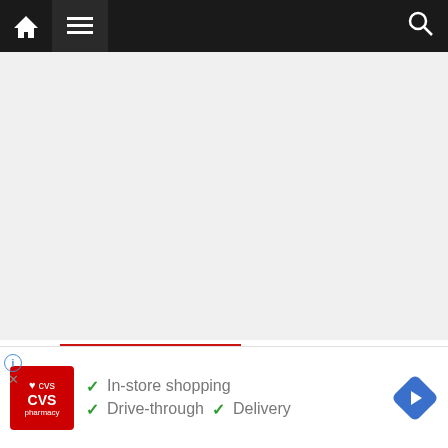[Figure (screenshot): Website navigation bar with home icon, hamburger menu icon on dark background, and search icon on the right. Red bar accent at top right.]
[Figure (screenshot): Gray empty content area representing a webpage body.]
GLISH SECTION
[Figure (screenshot): CVS Pharmacy advertisement banner showing: In-store shopping, Drive-through, Delivery with green checkmarks. CVS pharmacy logo on left, blue navigation diamond icon on right.]